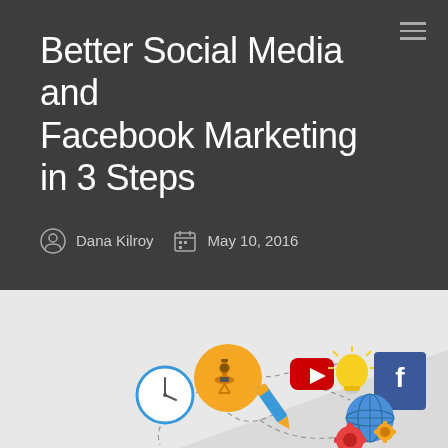Better Social Media and Facebook Marketing in 3 Steps
Dana Kilroy   May 10, 2016
[Figure (illustration): Flat design infographic showing social media and digital marketing icons: a clock, microscope on gold circle, YouTube play button, light bulb, pencil/marker, Facebook icon on blue card, globe with gear, red gear, connected by dashed lines forming a concept map about content creation and social media marketing.]